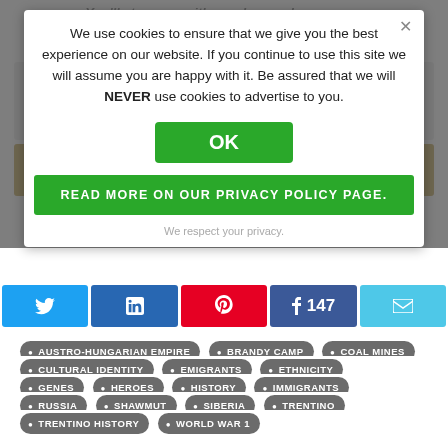You'll stay near with us when we have a new, informative genealogy article for you to read. We are dedicated to a Spain-free World.
We use cookies to ensure that we give you the best experience on our website. If you continue to use this site we will assume you are happy with it. Be assured that we will NEVER use cookies to advertise to you.
OK
READ MORE ON OUR PRIVACY POLICY PAGE.
We respect your privacy.
AUSTRO-HUNGARIAN EMPIRE
BRANDY CAMP
COAL MINES
CULTURAL IDENTITY
EMIGRANTS
ETHNICITY
GENEALOGY
GENES
HEROES
HISTORY
IMMIGRANTS
PENNSYLVANIA
RUSSIA
SHAWMUT
SIBERIA
TRENTINO
TRENTINO HISTORY
WORLD WAR 1